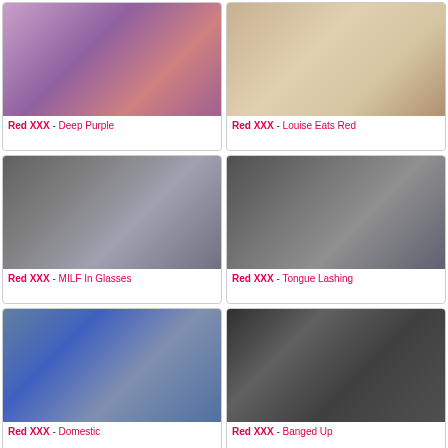[Figure (photo): Photo for Red XXX - Deep Purple]
Red XXX - Deep Purple
[Figure (photo): Photo for Red XXX - Louise Eats Red]
Red XXX - Louise Eats Red
[Figure (photo): Photo for Red XXX - MILF In Glasses]
Red XXX - MILF In Glasses
[Figure (photo): Photo for Red XXX - Tongue Lashing]
Red XXX - Tongue Lashing
[Figure (photo): Photo for Red XXX - Domestic]
Red XXX - Domestic
[Figure (photo): Photo for Red XXX - Banged Up]
Red XXX - Banged Up